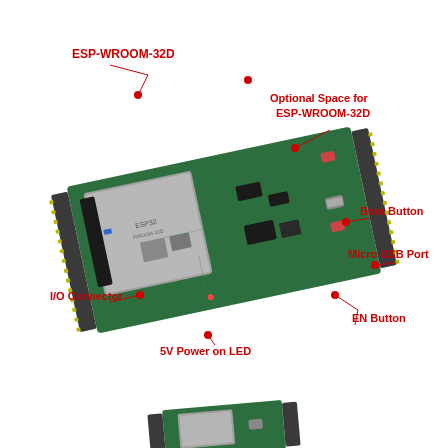[Figure (engineering-diagram): An ESP32 development board (ESP-WROOM-32D) with labeled components: ESP-WROOM-32D module, Optional Space for ESP-WROOM-32D, Boot Button, Micro USB Port, EN Button, I/O Connector, 5V Power on LED. Red dots indicate pointer locations. Below is a partial view of a second smaller board.]